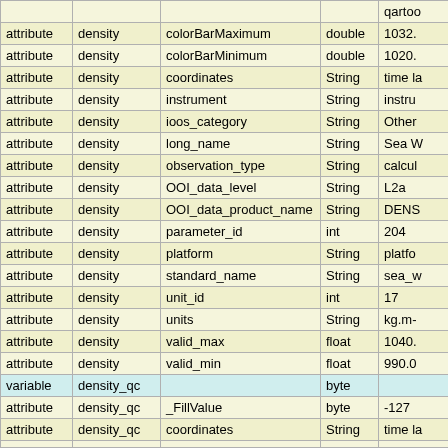|  |  |  |  | qartod... |
| --- | --- | --- | --- | --- |
| attribute | density | colorBarMaximum | double | 1032. |
| attribute | density | colorBarMinimum | double | 1020. |
| attribute | density | coordinates | String | time la |
| attribute | density | instrument | String | instru |
| attribute | density | ioos_category | String | Other |
| attribute | density | long_name | String | Sea W |
| attribute | density | observation_type | String | calcul |
| attribute | density | OOI_data_level | String | L2a |
| attribute | density | OOI_data_product_name | String | DENS |
| attribute | density | parameter_id | int | 204 |
| attribute | density | platform | String | platfo |
| attribute | density | standard_name | String | sea_w |
| attribute | density | unit_id | int | 17 |
| attribute | density | units | String | kg.m- |
| attribute | density | valid_max | float | 1040. |
| attribute | density | valid_min | float | 990.0 |
| variable | density_qc |  | byte |  |
| attribute | density_qc | _FillValue | byte | -127 |
| attribute | density_qc | coordinates | String | time la |
|  |  |  |  |  |